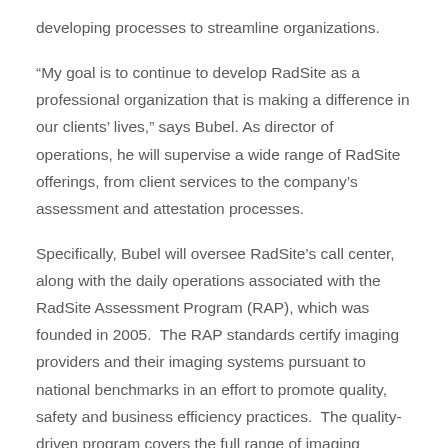developing processes to streamline organizations.
“My goal is to continue to develop RadSite as a professional organization that is making a difference in our clients’ lives,” says Bubel. As director of operations, he will supervise a wide range of RadSite offerings, from client services to the company’s assessment and attestation processes.
Specifically, Bubel will oversee RadSite’s call center, along with the daily operations associated with the RadSite Assessment Program (RAP), which was founded in 2005. The RAP standards certify imaging providers and their imaging systems pursuant to national benchmarks in an effort to promote quality, safety and business efficiency practices. The quality-driven program covers the full range of imaging modalities in all clinical settings.